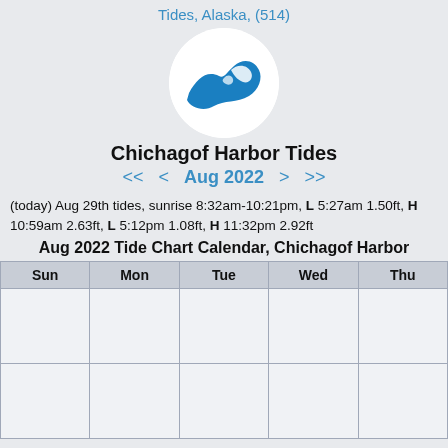Tides, Alaska, (514)
[Figure (logo): Blue wave logo in a white circle]
Chichagof Harbor Tides
<< < Aug 2022 > >>
(today) Aug 29th tides, sunrise 8:32am-10:21pm, L 5:27am 1.50ft, H 10:59am 2.63ft, L 5:12pm 1.08ft, H 11:32pm 2.92ft
Aug 2022 Tide Chart Calendar, Chichagof Harbor
| Sun | Mon | Tue | Wed | Thu |
| --- | --- | --- | --- | --- |
|  |  |  |  |  |
|  |  |  |  |  |